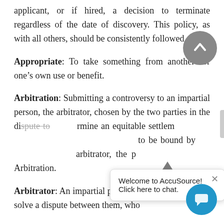applicant, or if hired, a decision to terminate regardless of the date of discovery. This policy, as with all others, should be consistently followed.
Appropriate: To take something from another for one's own use or benefit.
Arbitration: Submitting a controversy to an impartial person, the arbitrator, chosen by the two parties in the dispute to determine an equitable settlement. Both parties must agree to be bound by the decision of the arbitrator, the process is known as Arbitration.
Arbitrator: An impartial person chosen by parties to solve a dispute between them, who